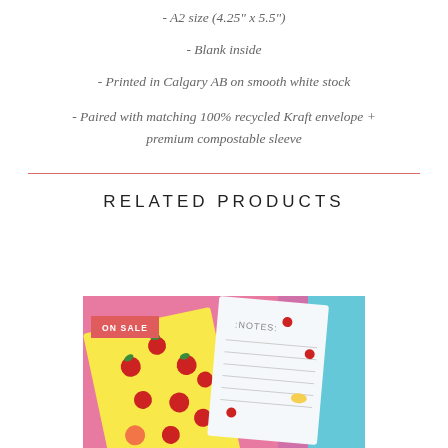- A2 size (4.25" x 5.5")
- Blank inside
- Printed in Calgary AB on smooth white stock
- Paired with matching 100% recycled Kraft envelope + premium compostable sleeve
RELATED PRODUCTS
[Figure (photo): Product photo showing strawberry-themed greeting cards and notepad on a pink and blue background, with an ON SALE badge overlay]